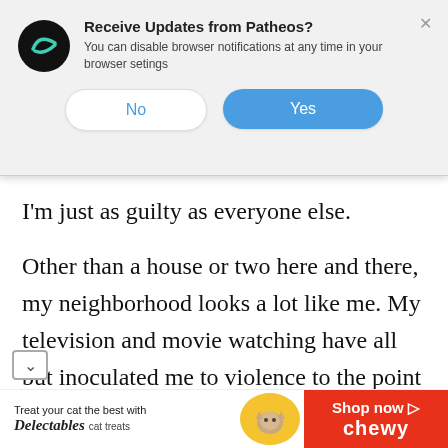[Figure (screenshot): Browser notification popup asking 'Receive Updates from Patheos?' with Patheos logo, body text 'You can disable browser notifications at any time in your browser setings', and two buttons: 'No' and 'Yes']
I'm just as guilty as everyone else.
Other than a house or two here and there, my neighborhood looks a lot like me. My television and movie watching have all but inoculated me to violence to the point that my gut reaction to atrocious crime, isn't a plea for justice and it isn't certainly not a
aration of love for my enemies. It's a cry
[Figure (screenshot): Advertisement banner: 'Treat your cat the best with Delectables cat treats' with a cat image and Chewy 'Shop now' button]